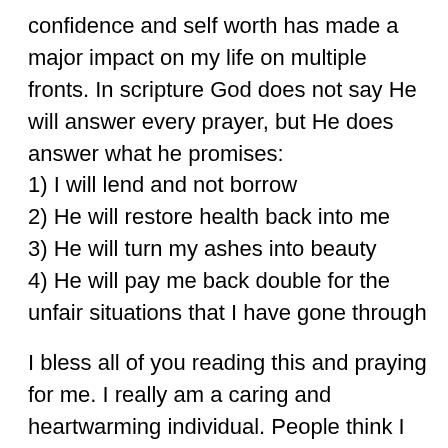confidence and self worth has made a major impact on my life on multiple fronts. In scripture God does not say He will answer every prayer, but He does answer what he promises:
1) I will lend and not borrow
2) He will restore health back into me
3) He will turn my ashes into beauty
4) He will pay me back double for the unfair situations that I have gone through
I bless all of you reading this and praying for me. I really am a caring and heartwarming individual. People think I am some malicious criminal and drug addict and that is not the case at all. I just pray that others can see my value and the value I bring to my daughter regardless of some of my selfish acts. I just want everyone out there to see me prosperous,